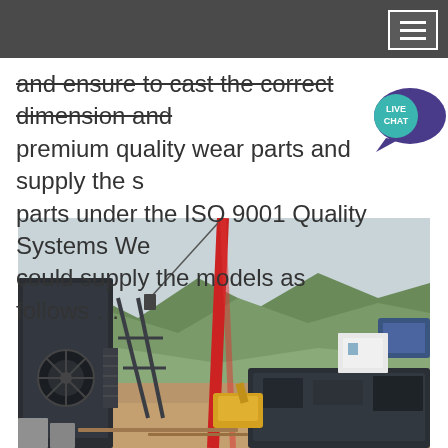and ensure to cast the correct dimension and premium quality wear parts and supply the spare parts under the ISO 9001 Quality Systems We could supply the models as follows …
[Figure (photo): Industrial crusher/mining equipment installation site with a red crane lifting machinery, dark metal crusher equipment visible, mountains and green hillside in background, yellow excavator visible at base]